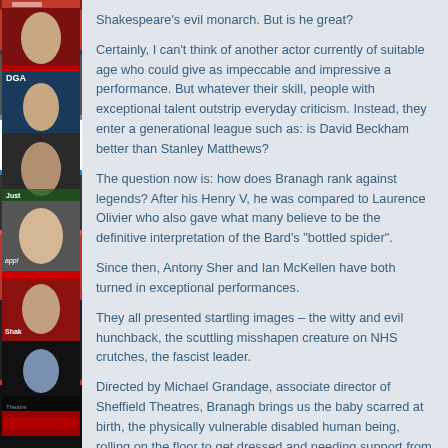[Figure (photo): Left strip showing a vertical stack of magazine covers featuring various actors and publications]
Shakespeare's evil monarch. But is he great?
Certainly, I can't think of another actor currently of suitable age who could give as impeccable and impressive a performance. But whatever their skill, people with exceptional talent outstrip everyday criticism. Instead, they enter a generational league such as: is David Beckham better than Stanley Matthews?
The question now is: how does Branagh rank against legends? After his Henry V, he was compared to Laurence Olivier who also gave what many believe to be the definitive interpretation of the Bard's "bottled spider".
Since then, Antony Sher and Ian McKellen have both turned in exceptional performances.
They all presented startling images – the witty and evil hunchback, the scuttling misshapen creature on NHS crutches, the fascist leader.
Directed by Michael Grandage, associate director of Sheffield Theatres, Branagh brings us the baby scarred at birth, the physically vulnerable disabled human being, rolling on the floor to get dressed and needing support from a corset and leg calipers to stand.